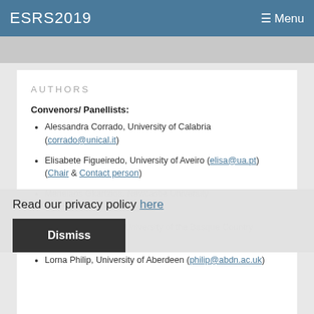ESRS2019   ☰ Menu
AUTHORS
Convenors/ Panellists:
Alessandra Corrado, University of Calabria (corrado@unical.it)
Elisabete Figueiredo, University of Aveiro (elisa@ua.pt) (Chair & Contact person)
Menelaos Gkartzios, Newcastle University (gkartzios@newcastle.ac.uk)
Maria Jesus Rivera, University of the Basque Country (rivera@ehu.eus)
Lorna Philip, University of Aberdeen (philip@abdn.ac.uk)
Read our privacy policy here
Dismiss